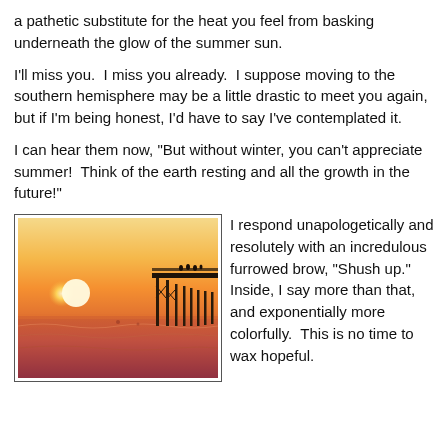a pathetic substitute for the heat you feel from basking underneath the glow of the summer sun.
I'll miss you.  I miss you already.  I suppose moving to the southern hemisphere may be a little drastic to meet you again, but if I'm being honest, I'd have to say I've contemplated it.
I can hear them now, "But without winter, you can't appreciate summer!  Think of the earth resting and all the growth in the future!"
[Figure (photo): A sunset over the ocean with a pier silhouette, warm orange and red tones, waves in the foreground.]
I respond unapologetically and resolutely with an incredulous furrowed brow, "Shush up." Inside, I say more than that, and exponentially more colorfully.  This is no time to wax hopeful.